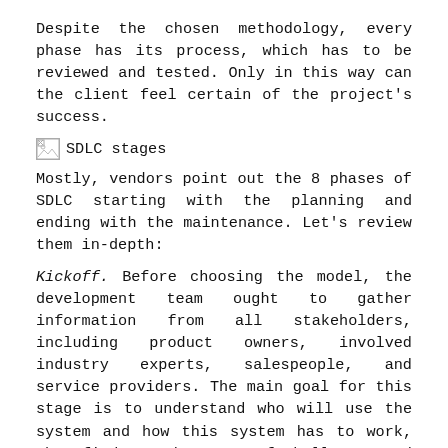Despite the chosen methodology, every phase has its process, which has to be reviewed and tested. Only in this way can the client feel certain of the project's success.
[Figure (illustration): SDLC stages image placeholder with broken image icon]
Mostly, vendors point out the 8 phases of SDLC starting with the planning and ending with the maintenance. Let’s review them in-depth:
Kickoff. Before choosing the model, the development team ought to gather information from all stakeholders, including product owners, involved industry experts, salespeople, and service providers. The main goal for this stage is to understand who will use the system and how this system has to work, then find out the scope of challenges and determine solutions.
Requirements gathering. This phase is the most